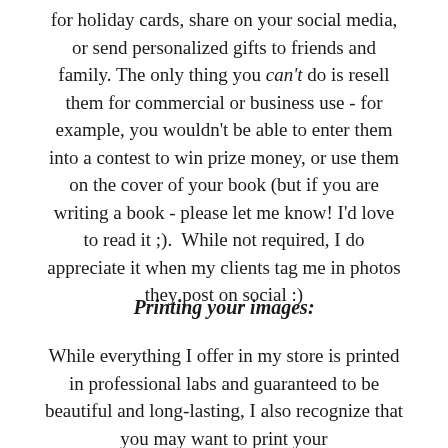for holiday cards, share on your social media, or send personalized gifts to friends and family. The only thing you can't do is resell them for commercial or business use - for example, you wouldn't be able to enter them into a contest to win prize money, or use them on the cover of your book (but if you are writing a book - please let me know! I'd love to read it ;).  While not required, I do appreciate it when my clients tag me in photos they post on social :)
Printing your images:
While everything I offer in my store is printed in professional labs and guaranteed to be beautiful and long-lasting, I also recognize that you may want to print your